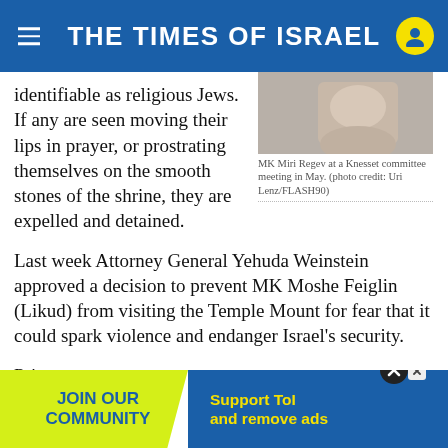THE TIMES OF ISRAEL
identifiable as religious Jews. If any are seen moving their lips in prayer, or prostrating themselves on the smooth stones of the shrine, they are expelled and detained.
[Figure (photo): MK Miri Regev at a Knesset committee meeting]
MK Miri Regev at a Knesset committee meeting in May. (photo credit: Uri Lenz/FLASH90)
Last week Attorney General Yehuda Weinstein approved a decision to prevent MK Moshe Feiglin (Likud) from visiting the Temple Mount for fear that it could spark violence and endanger Israel's security.
Prime [ad obscuring text] nd the d[obscured]
[Figure (infographic): Advertisement banner: JOIN OUR COMMUNITY | Support ToI and remove ads]